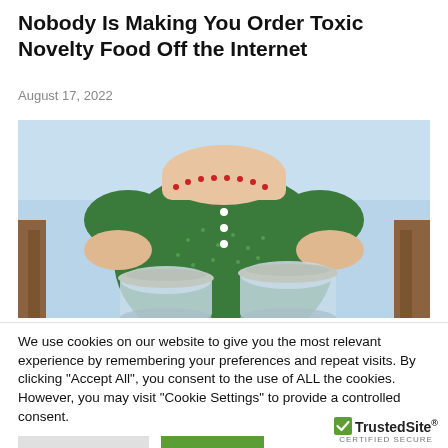Nobody Is Making You Order Toxic Novelty Food Off the Internet
August 17, 2022
[Figure (photo): A woman in a green floral dress with red trim holding mason jars, standing outdoors.]
We use cookies on our website to give you the most relevant experience by remembering your preferences and repeat visits. By clicking "Accept All", you consent to the use of ALL the cookies. However, you may visit "Cookie Settings" to provide a controlled consent.
Cookie Settings | Accept All
[Figure (logo): TrustedSite CERTIFIED SECURE badge]